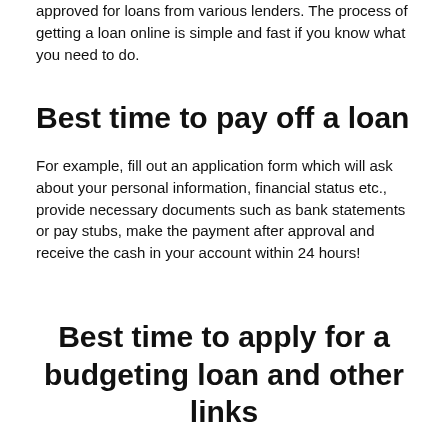approved for loans from various lenders. The process of getting a loan online is simple and fast if you know what you need to do.
Best time to pay off a loan
For example, fill out an application form which will ask about your personal information, financial status etc., provide necessary documents such as bank statements or pay stubs, make the payment after approval and receive the cash in your account within 24 hours!
Best time to apply for a budgeting loan and other links